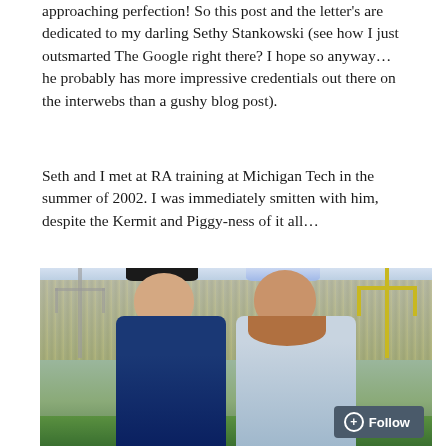approaching perfection! So this post and the letter's are dedicated to my darling Sethy Stankowski (see how I just outsmarted The Google right there? I hope so anyway… he probably has more impressive credentials out there on the interwebs than a gushy blog post).
Seth and I met at RA training at Michigan Tech in the summer of 2002. I was immediately smitten with him, despite the Kermit and Piggy-ness of it all…
[Figure (photo): Two people posing together at a football stadium with stands full of spectators and goalposts visible in background. Left person wearing dark blue jacket and black knit cap; right person wearing light grey jacket and blue/white striped winter hat with long reddish-brown hair.]